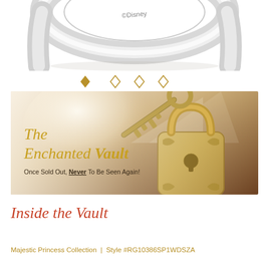[Figure (photo): Partial view of a silver Disney ring showing the ©Disney inscription on the inside band, shot against a white background]
[Figure (illustration): Row of four diamond/star shapes in gold: one filled solid diamond followed by three outline diamond shapes, used as a decorative divider]
[Figure (photo): Promotional banner image for The Enchanted Vault featuring a golden ornate padlock with a key against a sparkly warm brown background. Text reads: The Enchanted Vault — Once Sold Out, Never To Be Seen Again!]
Inside the Vault
Majestic Princess Collection | Style #RG10386SP1WDSZA